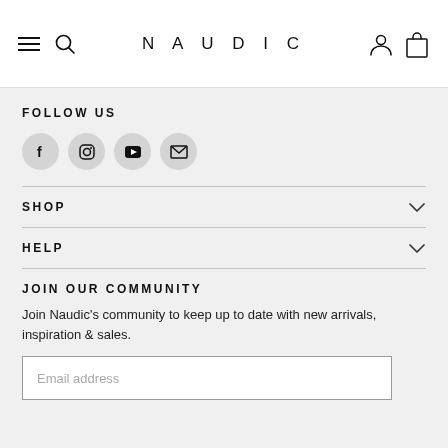NAUDIC
FOLLOW US
[Figure (other): Social media icons: Facebook, Instagram, YouTube, Email]
SHOP
HELP
JOIN OUR COMMUNITY
Join Naudic's community to keep up to date with new arrivals, inspiration & sales.
Email address